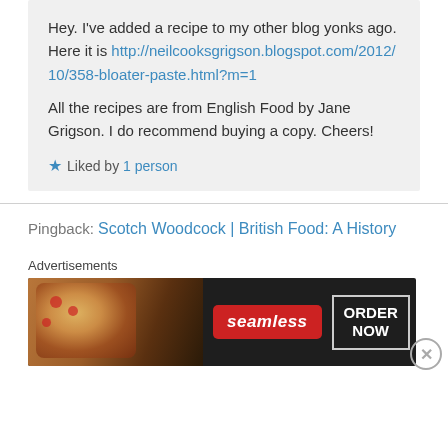Hey. I've added a recipe to my other blog yonks ago. Here it is http://neilcooksgrigson.blogspot.com/2012/10/358-bloater-paste.html?m=1 All the recipes are from English Food by Jane Grigson. I do recommend buying a copy. Cheers!
Liked by 1 person
Pingback: Scotch Woodcock | British Food: A History
Advertisements
[Figure (other): Seamless food delivery advertisement banner showing pizza slices on the left, red Seamless logo in the middle, and ORDER NOW button on the right against a dark background]